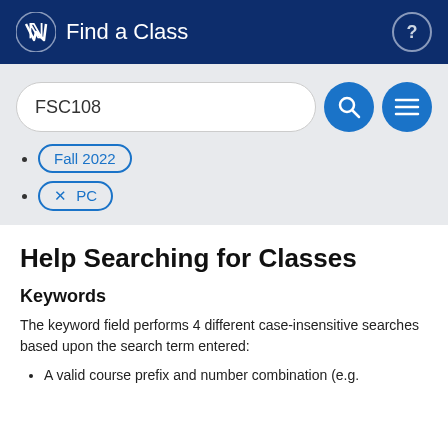Find a Class
FSC108
Fall 2022
X PC
Help Searching for Classes
Keywords
The keyword field performs 4 different case-insensitive searches based upon the search term entered:
A valid course prefix and number combination (e.g.